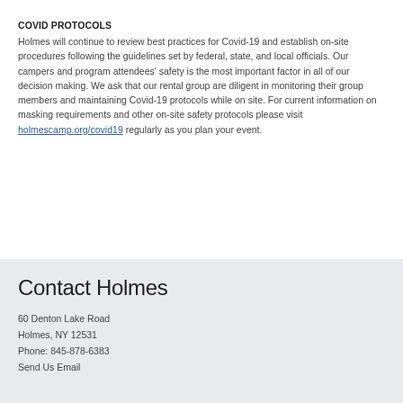COVID PROTOCOLS
Holmes will continue to review best practices for Covid-19 and establish on-site procedures following the guidelines set by federal, state, and local officials. Our campers and program attendees' safety is the most important factor in all of our decision making. We ask that our rental group are diligent in monitoring their group members and maintaining Covid-19 protocols while on site. For current information on masking requirements and other on-site safety protocols please visit holmescamp.org/covid19 regularly as you plan your event.
Contact Holmes
60 Denton Lake Road
Holmes, NY 12531
Phone: 845-878-6383
Send Us Email